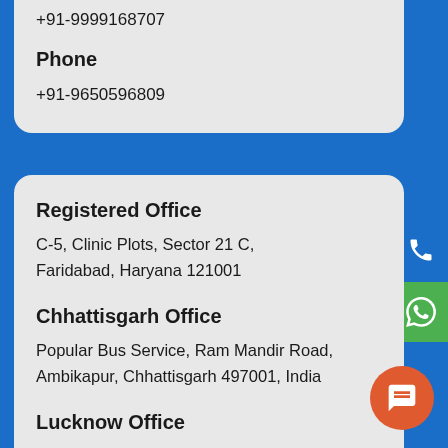+91-9999168707
Phone
+91-9650596809
Registered Office
C-5, Clinic Plots, Sector 21 C, Faridabad, Haryana 121001
Chhattisgarh Office
Popular Bus Service, Ram Mandir Road, Ambikapur, Chhattisgarh 497001, India
Lucknow Office